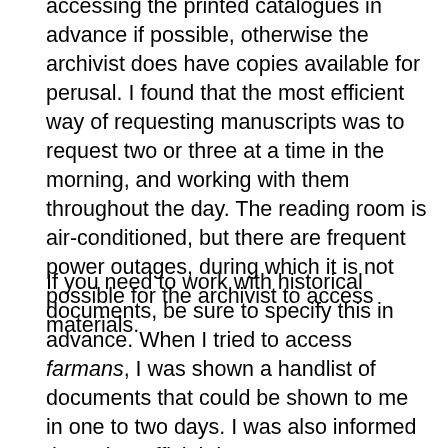accessing the printed catalogues in advance if possible, otherwise the archivist does have copies available for perusal. I found that the most efficient way of requesting manuscripts was to request two or three at a time in the morning, and working with them throughout the day. The reading room is air-conditioned, but there are frequent power outages, during which it is not possible for the archivist to access materials.
If you need to work with historical documents, be sure to specify this in advance. When I tried to access farmans, I was shown a handlist of documents that could be shown to me in one to two days. I was also informed that other official documents (correspondence, charitable endowment documents, deeds, etc.) are not